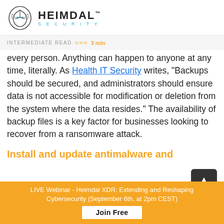HEIMDAL™ SECURITY
INTERMEDIATE READ ≈≈≈ 3 min
every person. Anything can happen to anyone at any time, literally. As Health IT Security writes, "Backups should be secured, and administrators should ensure data is not accessible for modification or deletion from the system where the data resides." The availability of backup files is a key factor for businesses looking to recover from a ransomware attack.
Install and update antimalware and
LIVE Webinar - Heimdal XDR: Extending and Reshaping Cybersecurity (September 6th, at 2pm CEST)
Join Free